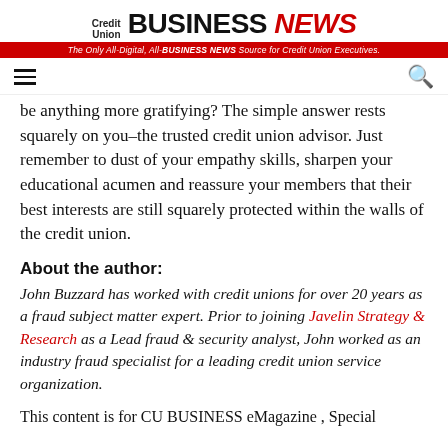Credit Union BUSINESS NEWS — The Only All-Digital, All-BUSINESS NEWS Source for Credit Union Executives.
be anything more gratifying? The simple answer rests squarely on you–the trusted credit union advisor. Just remember to dust of your empathy skills, sharpen your educational acumen and reassure your members that their best interests are still squarely protected within the walls of the credit union.
About the author:
John Buzzard has worked with credit unions for over 20 years as a fraud subject matter expert. Prior to joining Javelin Strategy & Research as a Lead fraud & security analyst, John worked as an industry fraud specialist for a leading credit union service organization.
This content is for CU BUSINESS eMagazine , Special